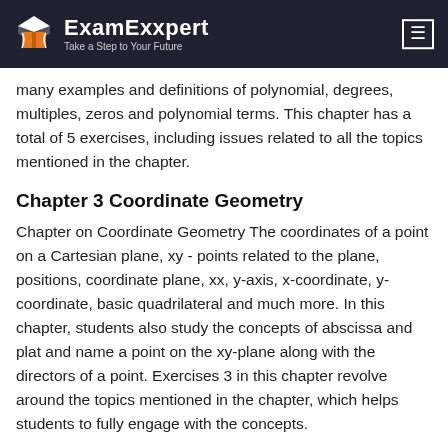ExamExxpert — Take a Step to Your Future
many examples and definitions of polynomial, degrees, multiples, zeros and polynomial terms. This chapter has a total of 5 exercises, including issues related to all the topics mentioned in the chapter.
Chapter 3 Coordinate Geometry
Chapter on Coordinate Geometry The coordinates of a point on a Cartesian plane, xy - points related to the plane, positions, coordinate plane, xx, y-axis, x-coordinate, y-coordinate, basic quadrilateral and much more. In this chapter, students also study the concepts of abscissa and plat and name a point on the xy-plane along with the directors of a point. Exercises 3 in this chapter revolve around the topics mentioned in the chapter, which helps students to fully engage with the concepts.
Chapter 4 Linear Equations in Two Variables